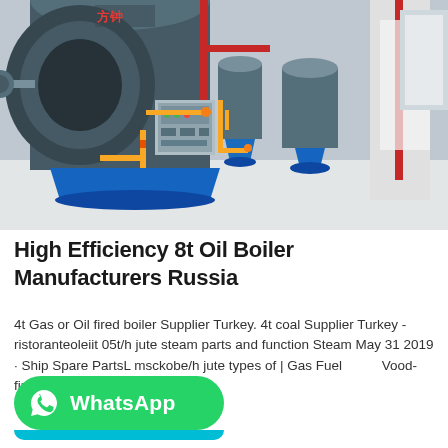[Figure (photo): Industrial boiler room with multiple large blue cylindrical boilers, yellow gas pipes, red overhead pipes, control panels, in a clean white-floored facility. Chinese text visible on one boiler.]
High Efficiency 8t Oil Boiler Manufacturers Russia
4t Gas or Oil fired boiler Supplier Turkey. 4t coal Supplier Turkey - ristoranteoleiit 05t/h jute steam parts and function Steam May 31 2019 · Ship Spare PartsL msckobe/h jute types of | Gas Fuel Wood-fired of and power plant for…
[Figure (logo): WhatsApp button — green rounded rectangle with WhatsApp phone icon and 'WhatsApp' label in white text]